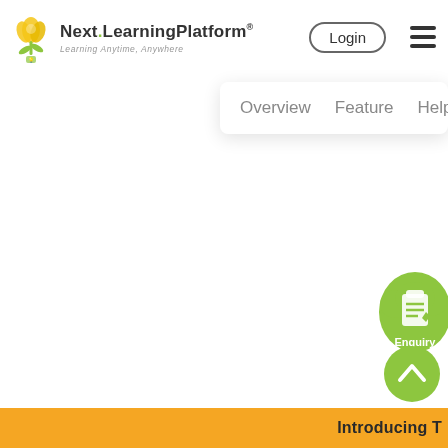[Figure (logo): Next Learning Platform logo with yellow tulip/lightbulb icon and tagline 'Learning Anytime, Anywhere']
Login
[Figure (illustration): Hamburger menu icon (three horizontal lines)]
Overview   Feature   Help
[Figure (illustration): Green cloud-shaped Enquiry button with clipboard icon]
[Figure (illustration): Green circular up-arrow button]
Introducing T